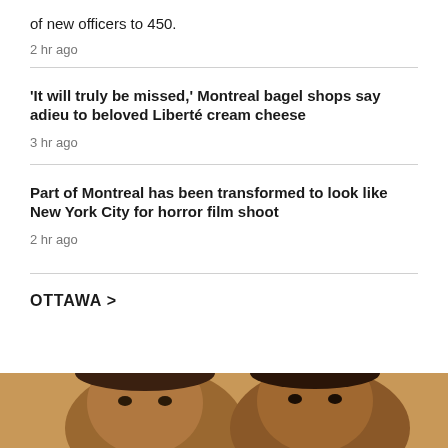of new officers to 450.
2 hr ago
'It will truly be missed,' Montreal bagel shops say adieu to beloved Liberté cream cheese
3 hr ago
Part of Montreal has been transformed to look like New York City for horror film shoot
2 hr ago
OTTAWA >
[Figure (photo): Photo of two people, close-up faces, appearing to be children or young individuals with dark skin tones]